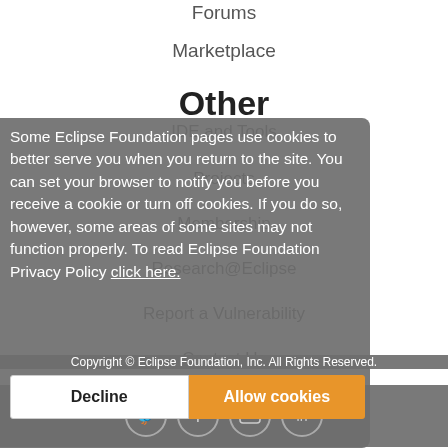Forums
Marketplace
Other
IDE and Tools
Projects
Membership
Research@Eclipse
Report a Vulnerability
Contact Us
Some Eclipse Foundation pages use cookies to better serve you when you return to the site. You can set your browser to notify you before you receive a cookie or turn off cookies. If you do so, however, some areas of some sites may not function properly. To read Eclipse Foundation Privacy Policy click here.
Copyright © Eclipse Foundation, Inc. All Rights Reserved.